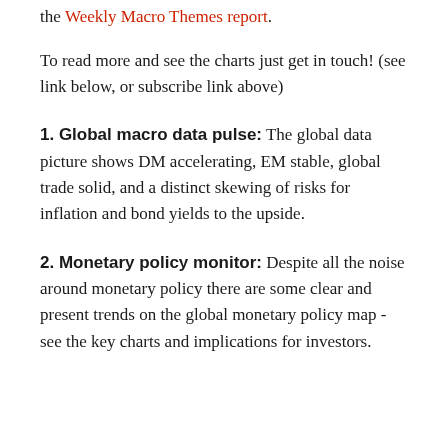the Weekly Macro Themes report.
To read more and see the charts just get in touch! (see link below, or subscribe link above)
1. Global macro data pulse: The global data picture shows DM accelerating, EM stable, global trade solid, and a distinct skewing of risks for inflation and bond yields to the upside.
2. Monetary policy monitor: Despite all the noise around monetary policy there are some clear and present trends on the global monetary policy map - see the key charts and implications for investors.